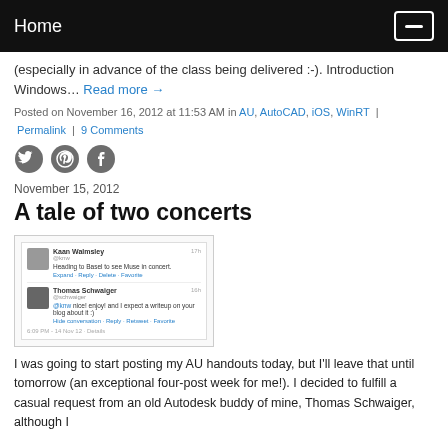Home
(especially in advance of the class being delivered :-). Introduction Windows… Read more →
Posted on November 16, 2012 at 11:53 AM in AU, AutoCAD, iOS, WinRT | Permalink | 9 Comments
[Figure (other): Social media share icons: Twitter, Pinterest, Facebook]
November 15, 2012
A tale of two concerts
[Figure (screenshot): Screenshot of two tweets: Kaan Walmsley heading to Basel to see Muse in concert, and Thomas Schwaiger replying nicely enjoy and I expect a writeup on your blog about it :)]
I was going to start posting my AU handouts today, but I'll leave that until tomorrow (an exceptional four-post week for me!). I decided to fulfill a casual request from an old Autodesk buddy of mine, Thomas Schwaiger, although I thought I'd base the topic in a slightly different key than he'd envisaged.